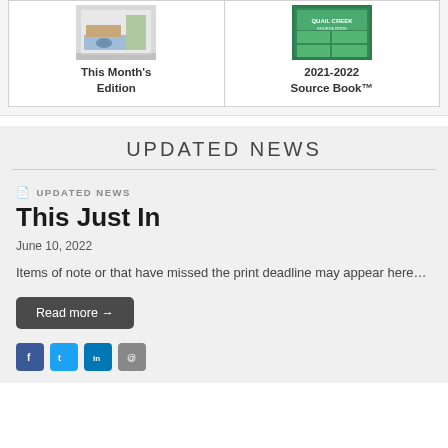[Figure (illustration): Thumbnail image of This Month's Edition publication cover showing a car and outdoor scene]
This Month's Edition
[Figure (illustration): Thumbnail image of 2021-2022 Source Book cover with Quail Creek branding in green]
2021-2022 Source Book™
UPDATED NEWS
UPDATED NEWS
This Just In
June 10, 2022
Items of note or that have missed the print deadline may appear here…
Read more →